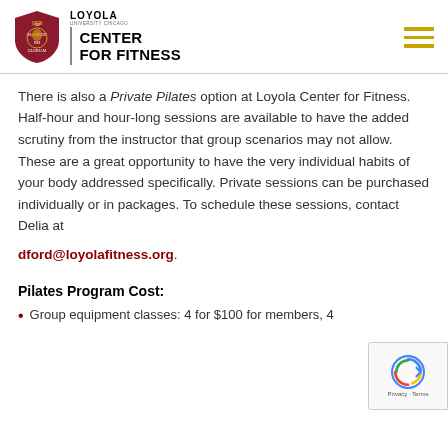LOYOLA UNIVERSITY CHICAGO CENTER FOR FITNESS
There is also a Private Pilates option at Loyola Center for Fitness. Half-hour and hour-long sessions are available to have the added scrutiny from the instructor that group scenarios may not allow. These are a great opportunity to have the very individual habits of your body addressed specifically. Private sessions can be purchased individually or in packages. To schedule these sessions, contact Delia at dford@loyolafitness.org.
Pilates Program Cost:
Group equipment classes: 4 for $100 for members, 4...